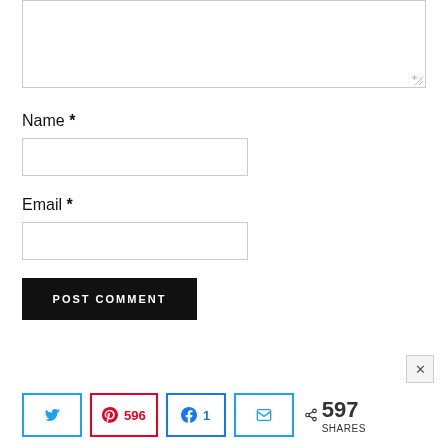[Figure (screenshot): Partial comment textarea with resize handle at bottom right]
Name *
[Figure (screenshot): Name text input field (empty)]
Email *
[Figure (screenshot): Email text input field (empty)]
POST COMMENT
[Figure (screenshot): Social share bar with Twitter, Pinterest (596), Facebook (1), Email buttons and 597 SHARES total]